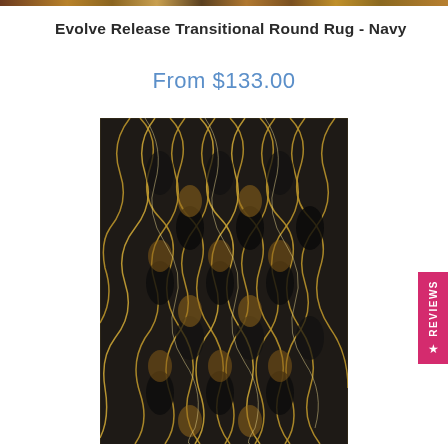[Figure (photo): Top decorative bar with brown/tan patterned rug image strip]
Evolve Release Transitional Round Rug - Navy
From $133.00
[Figure (photo): Rug product image showing a transitional pattern with dark navy/charcoal and gold/tan geometric wave design, displayed as a runner rug]
★ REVIEWS